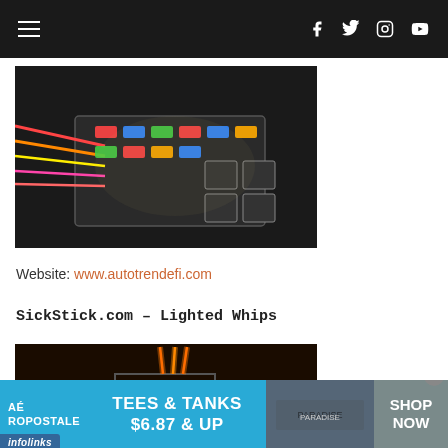Navigation bar with hamburger menu and social icons (Facebook, Twitter, Instagram, YouTube)
[Figure (photo): Photograph of automotive fuse box with colorful wires and fuses, illuminated in dark environment]
Website: www.autotrendefi.com
SickStick.com – Lighted Whips
[Figure (photo): Photograph of an off-road vehicle (UTV/buggy) with orange lighted whip accessories glowing in dark]
[Figure (other): Aeropostale advertisement banner: TEES & TANKS $6.87 & UP, SHOP NOW]